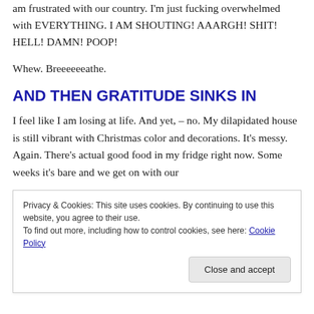am frustrated with our country. I'm just fucking overwhelmed with EVERYTHING. I AM SHOUTING! AAARGH! SHIT! HELL! DAMN! POOP!
Whew. Breeeeeeathe.
AND THEN GRATITUDE SINKS IN
I feel like I am losing at life. And yet, – no. My dilapidated house is still vibrant with Christmas color and decorations. It's messy. Again. There's actual good food in my fridge right now. Some weeks it's bare and we get on with our
Privacy & Cookies: This site uses cookies. By continuing to use this website, you agree to their use.
To find out more, including how to control cookies, see here: Cookie Policy